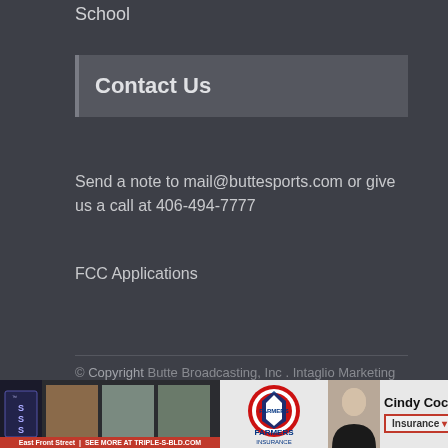School
Contact Us
Send a note to mail@buttesports.com or give us a call at 406-494-7777
FCC Applications
© Copyright Butte Broadcasting, Inc . Intaglio Marketing
[Figure (infographic): Advertisement banner at bottom: Triple-S-Bld.com advertisement on left with product images and red caption bar; Farmers Insurance advertisement on right with logo, agent photo of Cindy Cochr[an] and Insurance button]